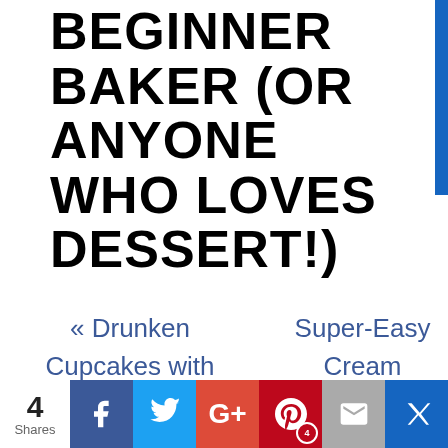BEGINNER BAKER (OR ANYONE WHO LOVES DESSERT!)
« Drunken Cupcakes with Bailey's
Super-Easy Cream Cheese Icing When